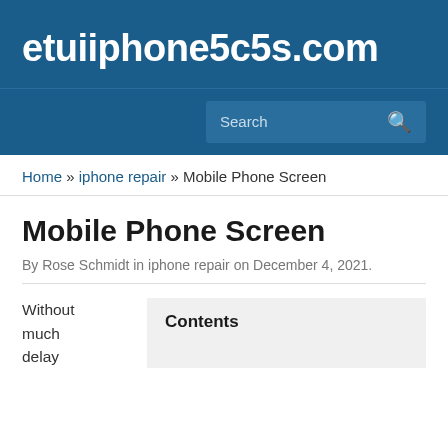etuiiphone5c5s.com
Search
Home » iphone repair » Mobile Phone Screen
Mobile Phone Screen
By Rose Schmidt in iphone repair on December 4, 2021.
Without much delay
Contents